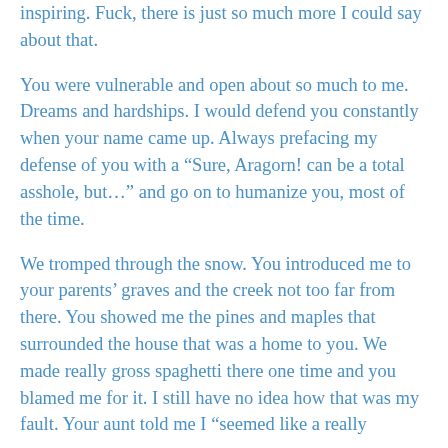inspiring. Fuck, there is just so much more I could say about that.
You were vulnerable and open about so much to me. Dreams and hardships. I would defend you constantly when your name came up. Always prefacing my defense of you with a “Sure, Aragorn! can be a total asshole, but…” and go on to humanize you, most of the time.
We tromped through the snow. You introduced me to your parents’ graves and the creek not too far from there. You showed me the pines and maples that surrounded the house that was a home to you. We made really gross spaghetti there one time and you blamed me for it. I still have no idea how that was my fault. Your aunt told me I “seemed like a really